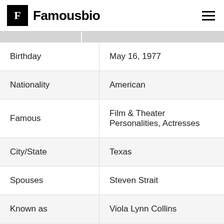F Famousbio
| Field | Value |
| --- | --- |
| Birthday | May 16, 1977 |
| Nationality | American |
| Famous | Film & Theater Personalities, Actresses |
| City/State | Texas |
| Spouses | Steven Strait |
| Known as | Viola Lynn Collins |
| Universities | Juilliard School (BFA) |